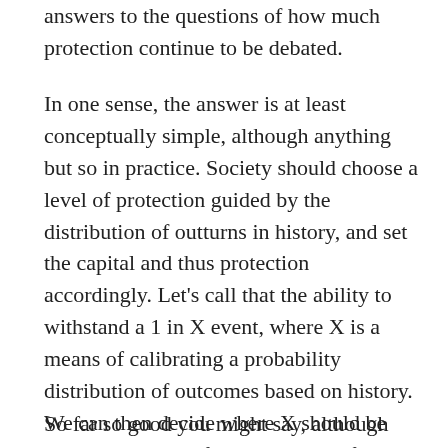answers to the questions of how much protection continue to be debated.
In one sense, the answer is at least conceptually simple, although anything but so in practice. Society should choose a level of protection guided by the distribution of outturns in history, and set the capital and thus protection accordingly. Let's call that the ability to withstand a 1 in X event, where X is a means of calibrating a probability distribution of outcomes based on history. We can then decide where X should be set, and thus how far into the tail of the distribution of outcomes we want to set the level of protection.
So far so good you might say, although I'm probably